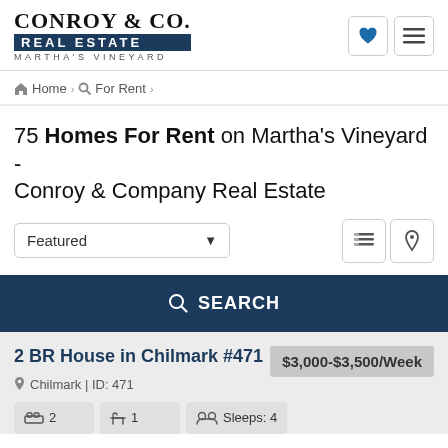[Figure (logo): Conroy & Co. Real Estate Martha's Vineyard logo]
Home > For Rent >
75 Homes For Rent on Martha's Vineyard - Conroy & Company Real Estate
Featured (sort dropdown) | list view icon | map pin icon
SEARCH
2 BR House in Chilmark #471
$3,000-$3,500/Week
Chilmark | ID: 471
2 (beds) | 1 (baths) | Sleeps: 4